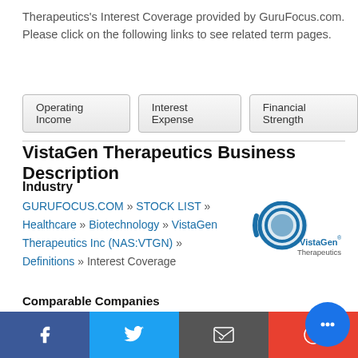Therapeutics's Interest Coverage provided by GuruFocus.com. Please click on the following links to see related term pages.
Operating Income | Interest Expense | Financial Strength
VistaGen Therapeutics Business Description
Industry
GURUFOCUS.COM » STOCK LIST » Healthcare » Biotechnology » VistaGen Therapeutics Inc (NAS:VTGN) » Definitions » Interest Coverage
[Figure (logo): VistaGen Therapeutics logo with circular blue graphic and company name text]
Comparable Companies
NAS:ALT NAS:MGNX NAS:TRDA NAS:KALV NAS:JNCE NAS:STRO AMEX:LCTX NAS:XOMA NAS:GTHX NAS:NVCT OCSE:NOVO B ASX:CSL NAS:REGN NAS:VRTX NAS:MRNA XKRX:207940 NAS:BNTX HKSE:02269 NAS:SGEN